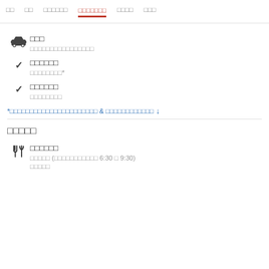□□ □□ □□□□□□ □□□□□□□ □□□□ □□□
□□□ — □□□□□□□□□□□□□□□□
□□□□□□ — □□□□□□□□*
□□□□□□ — □□□□□□□□
*□□□□□□□□□□□□□□□□□□□□□□ & □□□□□□□□□□□□ ↓
□□□□□
□□□□□□ — □□□□□ (□□□□□□□□□□□ 6:30 □ 9:30) □□□□□